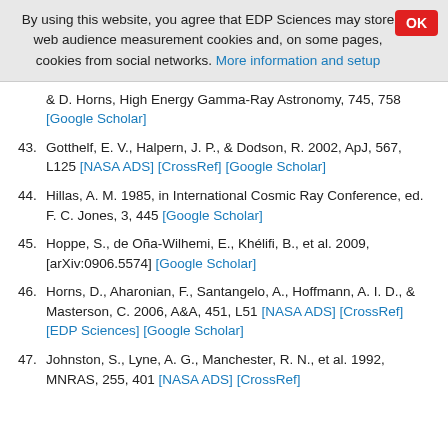By using this website, you agree that EDP Sciences may store web audience measurement cookies and, on some pages, cookies from social networks. More information and setup
& D. Horns, High Energy Gamma-Ray Astronomy, 745, 758 [Google Scholar]
43. Gotthelf, E. V., Halpern, J. P., & Dodson, R. 2002, ApJ, 567, L125 [NASA ADS] [CrossRef] [Google Scholar]
44. Hillas, A. M. 1985, in International Cosmic Ray Conference, ed. F. C. Jones, 3, 445 [Google Scholar]
45. Hoppe, S., de Oña-Wilhemi, E., Khélifi, B., et al. 2009, [arXiv:0906.5574] [Google Scholar]
46. Horns, D., Aharonian, F., Santangelo, A., Hoffmann, A. I. D., & Masterson, C. 2006, A&A, 451, L51 [NASA ADS] [CrossRef] [EDP Sciences] [Google Scholar]
47. Johnston, S., Lyne, A. G., Manchester, R. N., et al. 1992, MNRAS, 255, 401 [NASA ADS] [CrossRef]